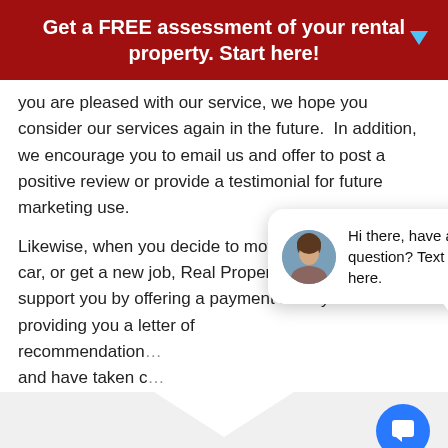Get a FREE assessment of your rental property. Start here!
you are pleased with our service, we hope you consider our services again in the future.  In addition, we encourage you to email us and offer to post a positive review or provide a testimonial for future marketing use.
Likewise, when you decide to move, buy a home or car, or get a new job, Real Property Management will support you by offering a payment history and providing you a letter of recommendation and have taken c
[Figure (other): Chat widget popup with avatar of a woman and text: Hi there, have a question? Text us here. With a close button label and blue chat icon button.]
Apply Online to Rent a Home